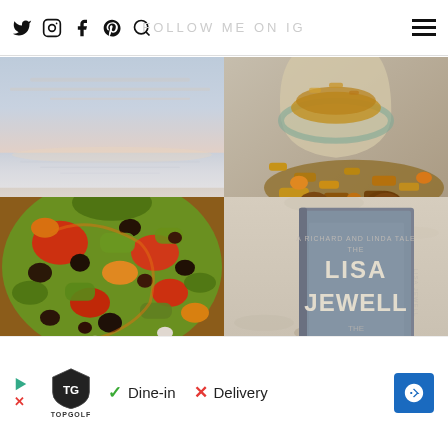FOLLOW ME ON IG
[Figure (photo): Serene beach sunset with pale pink and blue sky, calm water and sandy shore]
[Figure (photo): Glass jar of granola with oats, nuts, and dried fruits spilling out onto a surface]
[Figure (photo): Close-up of a colorful Mediterranean salad with olives, vegetables, herbs and chocolate chips]
[Figure (photo): Book by Lisa Jewell on sandy beach background]
Dine-in   Delivery
[Figure (logo): Topgolf logo with play button and X icons]